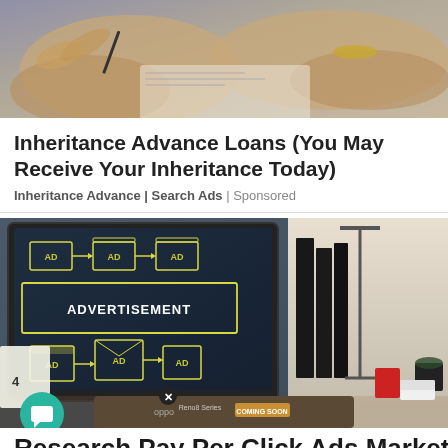[Figure (photo): Photo of elderly people's hands writing or signing a document]
Inheritance Advance Loans (You May Receive Your Inheritance Today)
Inheritance Advance | Search Ads | Sponsored
[Figure (photo): Photo of a computer monitor displaying an advertisement layout diagram with 'ADVERTISEMENT' text and multiple 'AD' boxes connected by arrows, with an office desk background]
Research Pay Per Click Ads Marketing